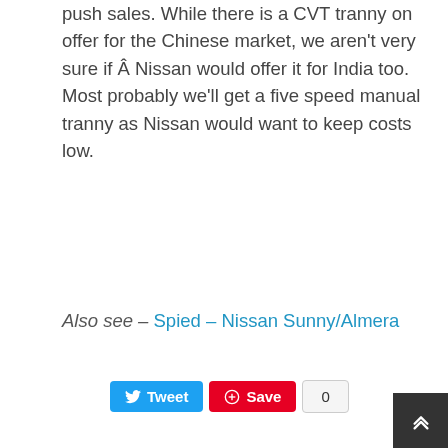push sales. While there is a CVT tranny on offer for the Chinese market, we aren't very sure if Â Nissan would offer it for India too. Most probably we'll get a five speed manual tranny as Nissan would want to keep costs low.
Also see – Spied – Nissan Sunny/Almera
Tweet | Save | 0
Related Posts
BMW 6-Series Gran Coupe scheduled to launch on 8th November in India